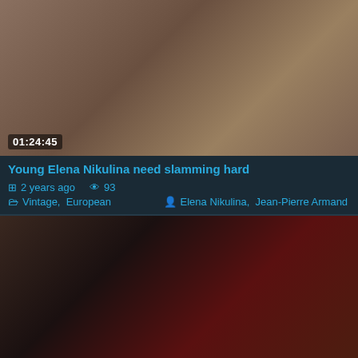[Figure (photo): Thumbnail of two women on a decorative bench/bed, one in white shirt and black skirt, one in red striped top. Duration overlay: 01:24:45]
Young Elena Nikulina need slamming hard
2 years ago  93
Vintage,  European    Elena Nikulina,  Jean-Pierre Armand
[Figure (photo): Thumbnail of two women kissing, one with dark hair and one blonde in a red dress. Duration overlay: 01:20:22]